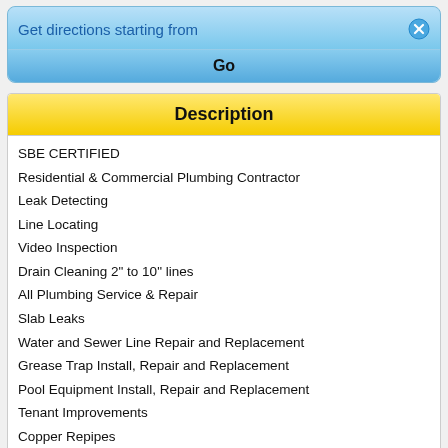Get directions starting from
Go
Description
SBE CERTIFIED
Residential & Commercial Plumbing Contractor
Leak Detecting
Line Locating
Video Inspection
Drain Cleaning 2" to 10" lines
All Plumbing Service & Repair
Slab Leaks
Water and Sewer Line Repair and Replacement
Grease Trap Install, Repair and Replacement
Pool Equipment Install, Repair and Replacement
Tenant Improvements
Copper Repipes
Kitchen and Bathroom Remodels
Additions
Irrigation...